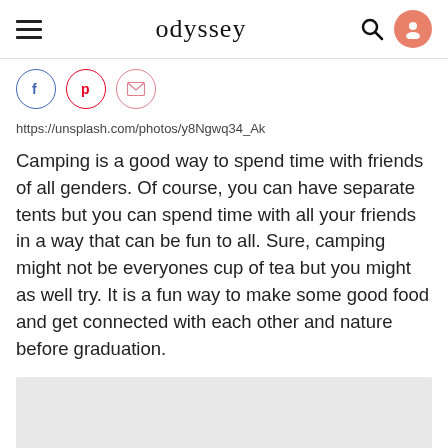odyssey
[Figure (other): Social share buttons: Facebook (blue circle), Pinterest (red circle), Email (pink circle)]
https://unsplash.com/photos/y8Ngwq34_Ak
Camping is a good way to spend time with friends of all genders. Of course, you can have separate tents but you can spend time with all your friends in a way that can be fun to all. Sure, camping might not be everyones cup of tea but you might as well try. It is a fun way to make some good food and get connected with each other and nature before graduation.
[Figure (other): Gray image placeholder block]